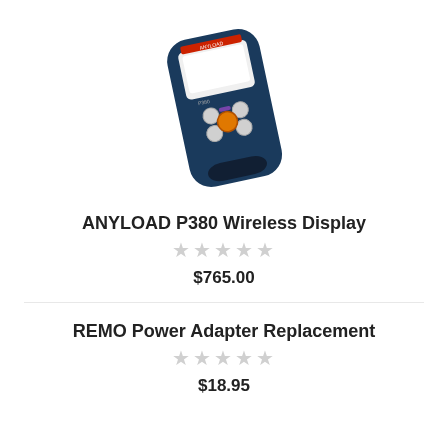[Figure (photo): ANYLOAD P380 handheld wireless display device, dark blue/black casing with screen and buttons, tilted at angle]
ANYLOAD P380 Wireless Display
★★★★★ (empty stars rating)
$765.00
REMO Power Adapter Replacement
★★★★★ (empty stars rating)
$18.95